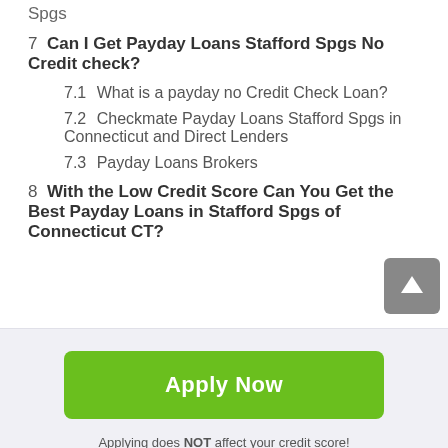Spgs
7  Can I Get Payday Loans Stafford Spgs No Credit check?
7.1  What is a payday no Credit Check Loan?
7.2  Checkmate Payday Loans Stafford Spgs in Connecticut and Direct Lenders
7.3  Payday Loans Brokers
8  With the Low Credit Score Can You Get the Best Payday Loans in Stafford Spgs of Connecticut CT?
Apply Now
Applying does NOT affect your credit score! No credit check to apply.